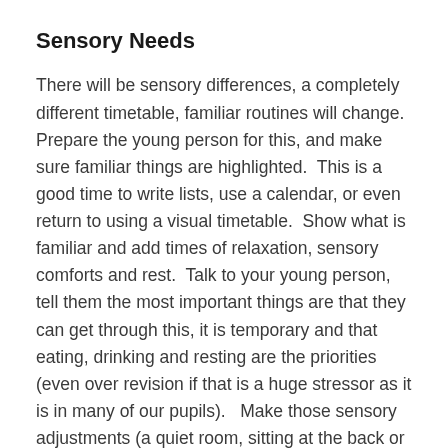Sensory Needs
There will be sensory differences, a completely different timetable, familiar routines will change.  Prepare the young person for this, and make sure familiar things are highlighted.  This is a good time to write lists, use a calendar, or even return to using a visual timetable.  Show what is familiar and add times of relaxation, sensory comforts and rest.  Talk to your young person, tell them the most important things are that they can get through this, it is temporary and that eating, drinking and resting are the priorities (even over revision if that is a huge stressor as it is in many of our pupils).   Make those sensory adjustments (a quiet room, sitting at the back or whatever will help them and make sure the invigilators know about those adjustments).